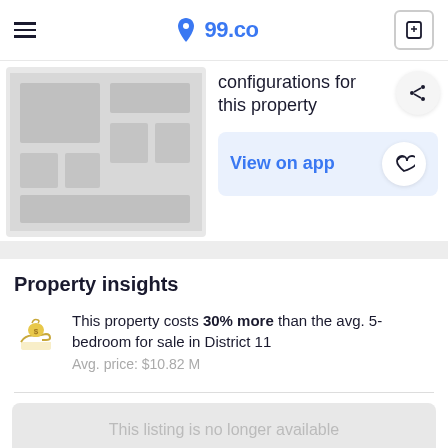99.co
configurations for this property
View on app
Property insights
This property costs 30% more than the avg. 5-bedroom for sale in District 11
Avg. price: $10.82 M
This listing is no longer available
Avg. size: 5961 sqft